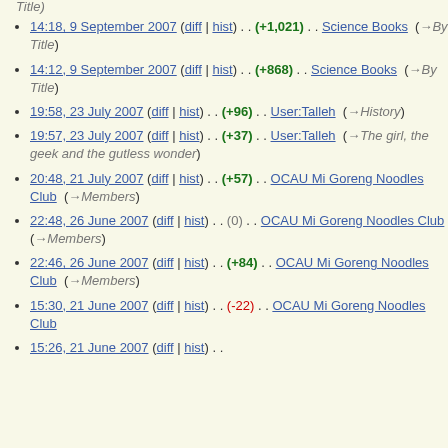Title)
14:18, 9 September 2007 (diff | hist) . . (+1,021) . . Science Books  (→By Title)
14:12, 9 September 2007 (diff | hist) . . (+868) . . Science Books  (→By Title)
19:58, 23 July 2007 (diff | hist) . . (+96) . . User:Talleh  (→History)
19:57, 23 July 2007 (diff | hist) . . (+37) . . User:Talleh  (→The girl, the geek and the gutless wonder)
20:48, 21 July 2007 (diff | hist) . . (+57) . . OCAU Mi Goreng Noodles Club  (→Members)
22:48, 26 June 2007 (diff | hist) . . (0) . . OCAU Mi Goreng Noodles Club  (→Members)
22:46, 26 June 2007 (diff | hist) . . (+84) . . OCAU Mi Goreng Noodles Club  (→Members)
15:30, 21 June 2007 (diff | hist) . . (-22) . . OCAU Mi Goreng Noodles Club
15:26, 21 June 2007 (diff | hist) . .